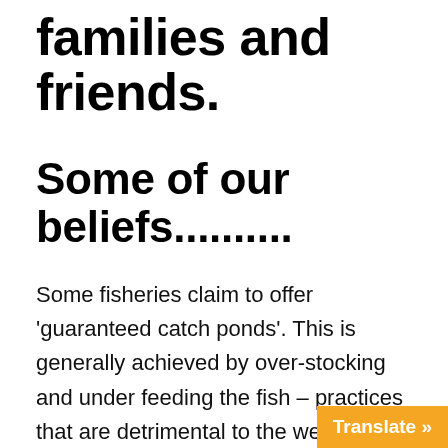families and friends.
Some of our beliefs..........
Some fisheries claim to offer ‘guaranteed catch ponds’. This is generally achieved by over-stocking and under feeding the fish – practices that are detrimental to the well-being of the fish. We will NEVER do this.
Some fisheries artificially feed their stock with pellets and hormonal suppl…